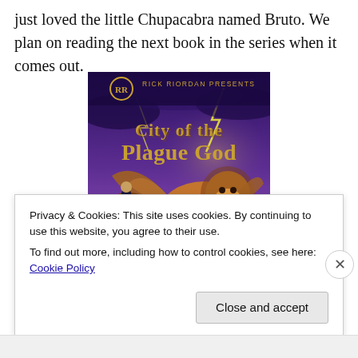just loved the little Chupacabra named Bruto. We plan on reading the next book in the series when it comes out.
[Figure (photo): Book cover of 'City of the Plague God' presented by Rick Riordan Presents, showing a winged lion creature and a figure riding a chariot against a stormy purple sky with lightning.]
Privacy & Cookies: This site uses cookies. By continuing to use this website, you agree to their use.
To find out more, including how to control cookies, see here: Cookie Policy
Close and accept